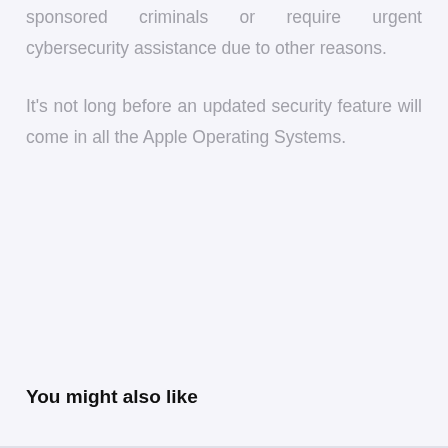sponsored criminals or require urgent cybersecurity assistance due to other reasons.
It's not long before an updated security feature will come in all the Apple Operating Systems.
You might also like